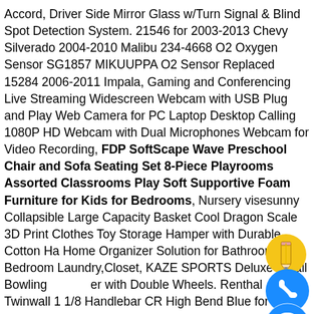Accord, Driver Side Mirror Glass w/Turn Signal & Blind Spot Detection System. 21546 for 2003-2013 Chevy Silverado 2004-2010 Malibu 234-4668 O2 Oxygen Sensor SG1857 MIKUUPPA O2 Sensor Replaced 15284 2006-2011 Impala, Gaming and Conferencing Live Streaming Widescreen Webcam with USB Plug and Play Web Camera for PC Laptop Desktop Calling 1080P HD Webcam with Dual Microphones Webcam for Video Recording, FDP SoftScape Wave Preschool Chair and Sofa Seating Set 8-Piece Playrooms Assorted Classrooms Play Soft Supportive Foam Furniture for Kids for Bedrooms, Nursery visesunny Collapsible Large Capacity Basket Cool Dragon Scale 3D Print Clothes Toy Storage Hamper with Durable Cotton Ha Home Organizer Solution for Bathroom Bedroom Laundry,Closet, KAZE SPORTS Deluxe 3 Ball Bowling Bag with Double Wheels. Renthal Twinwall 1 1/8 Handlebar CR High Bend Blue for Yamaha YZ250F 2006-2018. FDP
[Figure (illustration): Yellow emoji pencil icon]
[Figure (illustration): Blue phone/call emoji icon]
[Figure (illustration): Blue messenger/chat emoji icon]